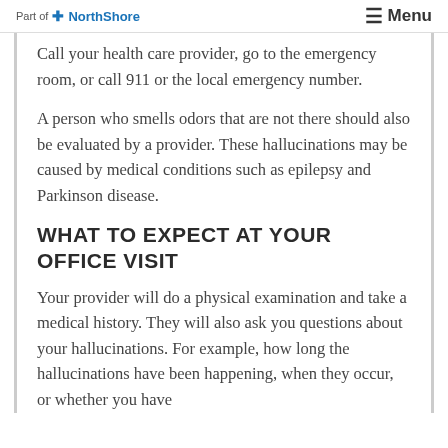Part of NorthShore | Menu
Call your health care provider, go to the emergency room, or call 911 or the local emergency number.
A person who smells odors that are not there should also be evaluated by a provider. These hallucinations may be caused by medical conditions such as epilepsy and Parkinson disease.
WHAT TO EXPECT AT YOUR OFFICE VISIT
Your provider will do a physical examination and take a medical history. They will also ask you questions about your hallucinations. For example, how long the hallucinations have been happening, when they occur, or whether you have